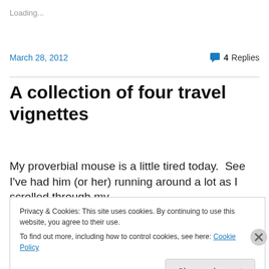Loading...
March 28, 2012
4 Replies
A collection of four travel vignettes
My proverbial mouse is a little tired today.  See I've had him (or her) running around a lot as I scrolled through my
Privacy & Cookies: This site uses cookies. By continuing to use this website, you agree to their use.
To find out more, including how to control cookies, see here: Cookie Policy
Close and accept